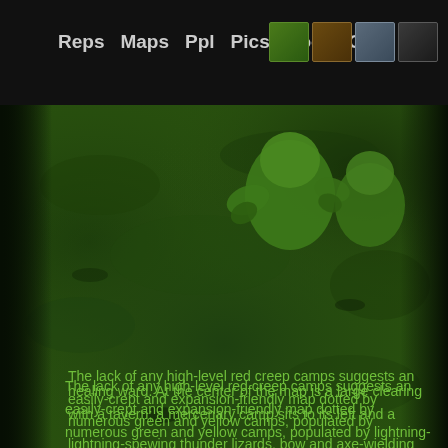Reps  Maps  Ppl  Pics  Docs  Old
[Figure (screenshot): Warcraft II or III style game screenshot showing green grass terrain with orc/troll units at top and a knight/warrior unit in center-right. Dark borders on left and right edges.]
The lack of any high-level red creep camps suggests an easily-crept and expansion-friendly map dotted by numerous green and yellow camps, populated by lightning-spewing thunder lizards, bow and axe-wielding centaurs, and warthog-like razormanes. The thunder lizards have splash damage and can cast purge to make creeping difficult for any intelligence heroes relying on summoned units to soak up damage, the centaurs deal high rates of damage through their archers, and the razormanes can summon little piglets as well as cast healing ward. At the center of the map is a large clearing with a tavern; a mercenary camp sits to its left and a